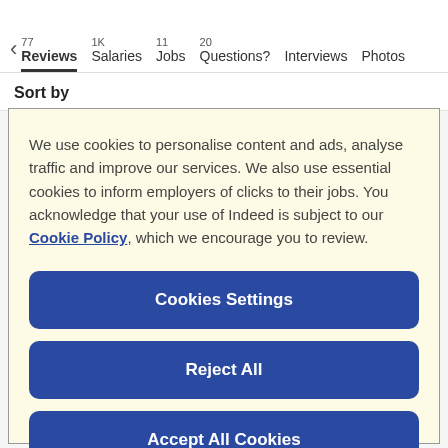< 77 Reviews | 1K Salaries | 11 Jobs | 20 Questions? | Interviews | Photos
Sort by
We use cookies to personalise content and ads, analyse traffic and improve our services. We also use essential cookies to inform employers of clicks to their jobs. You acknowledge that your use of Indeed is subject to our Cookie Policy, which we encourage you to review.
Cookies Settings
Reject All
Accept All Cookies